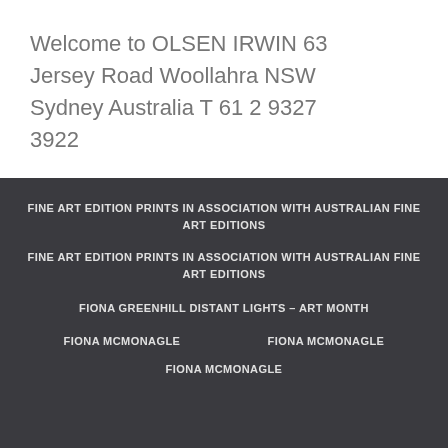Welcome to OLSEN IRWIN 63 Jersey Road Woollahra NSW Sydney Australia T 61 2 9327 3922
FINE ART EDITION PRINTS IN ASSOCIATION WITH AUSTRALIAN FINE ART EDITIONS
FINE ART EDITION PRINTS IN ASSOCIATION WITH AUSTRALIAN FINE ART EDITIONS
FIONA GREENHILL DISTANT LIGHTS – ART MONTH
FIONA MCMONAGLE     FIONA MCMONAGLE
FIONA MCMONAGLE